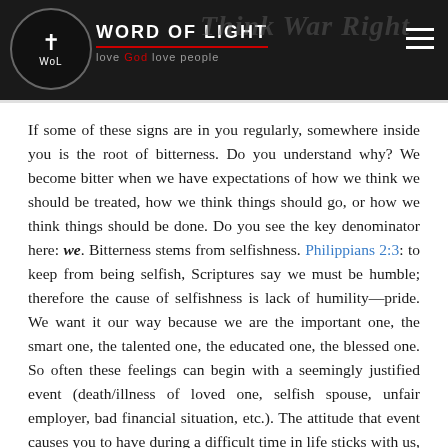Word of Light — love God love people
If some of these signs are in you regularly, somewhere inside you is the root of bitterness. Do you understand why? We become bitter when we have expectations of how we think we should be treated, how we think things should go, or how we think things should be done. Do you see the key denominator here: we. Bitterness stems from selfishness. Philippians 2:3: to keep from being selfish, Scriptures say we must be humble; therefore the cause of selfishness is lack of humility—pride. We want it our way because we are the important one, the smart one, the talented one, the educated one, the blessed one. So often these feelings can begin with a seemingly justified event (death/illness of loved one, selfish spouse, unfair employer, bad financial situation, etc.). The attitude that event causes you to have during a difficult time in life sticks with us, and becomes something in our life with...